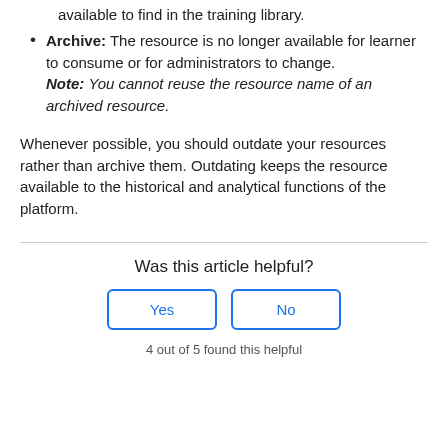available to find in the training library.
Archive: The resource is no longer available for learner to consume or for administrators to change. Note: You cannot reuse the resource name of an archived resource.
Whenever possible, you should outdate your resources rather than archive them. Outdating keeps the resource available to the historical and analytical functions of the platform.
Was this article helpful?
Yes
No
4 out of 5 found this helpful